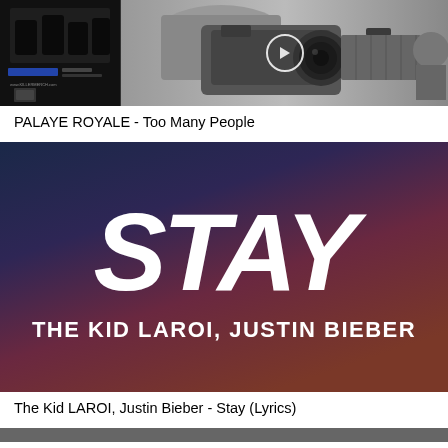[Figure (screenshot): Thumbnail for PALAYE ROYALE - Too Many People video, showing a dark left panel with band imagery and a black-and-white camera photograph on the right]
PALAYE ROYALE - Too Many People
[Figure (screenshot): Thumbnail for The Kid LAROI, Justin Bieber - Stay (Lyrics) video, showing the word STAY in large white brush-style text over a dark blue-purple-red gradient background, with THE KID LAROI, JUSTIN BIEBER below]
The Kid LAROI, Justin Bieber - Stay (Lyrics)
[Figure (screenshot): Partial thumbnail visible at bottom of page]